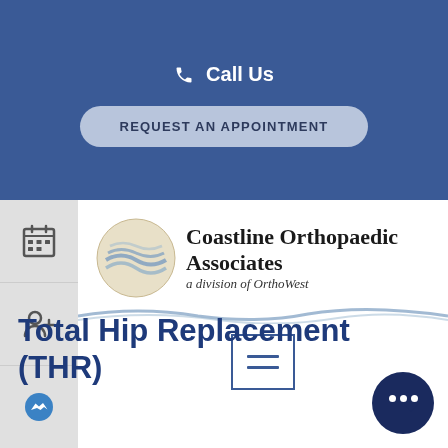Call Us
REQUEST AN APPOINTMENT
[Figure (logo): Coastline Orthopaedic Associates logo - circular wave emblem with text 'Coastline Orthopaedic Associates a division of OrthoWest']
[Figure (other): Hamburger menu icon (three horizontal lines inside a square border)]
Total Hip Replacement (THR)